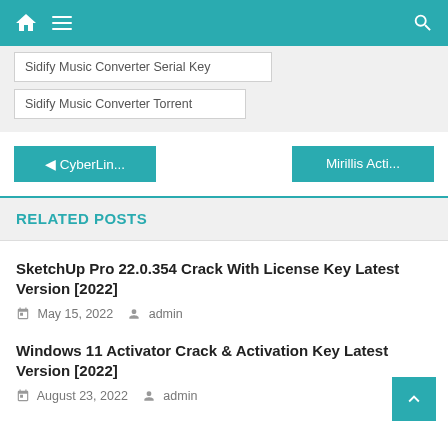Navigation bar with home, menu, and search icons
Sidify Music Converter Serial Key
Sidify Music Converter Torrent
◀ CyberLin...
Mirillis Acti...
RELATED POSTS
SketchUp Pro 22.0.354 Crack With License Key Latest Version [2022]
May 15, 2022   admin
Windows 11 Activator Crack & Activation Key Latest Version [2022]
August 23, 2022   admin